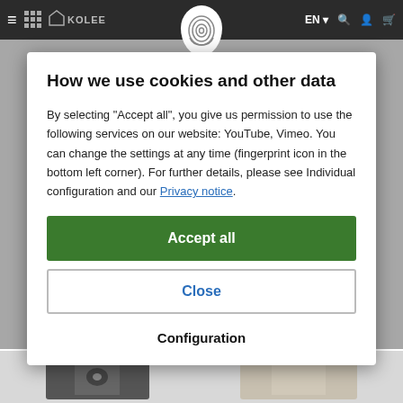Navigation bar with hamburger menu, logo, fingerprint icon, EN language selector, search, account, and cart icons
How we use cookies and other data
By selecting "Accept all", you give us permission to use the following services on our website: YouTube, Vimeo. You can change the settings at any time (fingerprint icon in the bottom left corner). For further details, please see Individual configuration and our Privacy notice.
Accept all
Close
Configuration